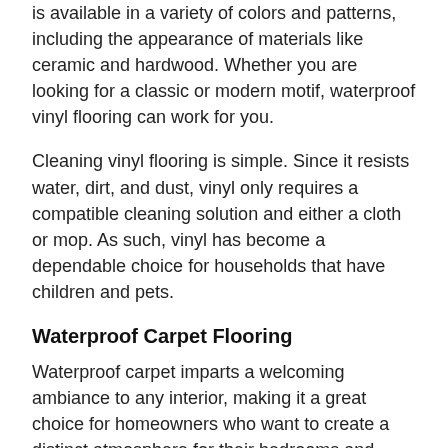is available in a variety of colors and patterns, including the appearance of materials like ceramic and hardwood. Whether you are looking for a classic or modern motif, waterproof vinyl flooring can work for you.
Cleaning vinyl flooring is simple. Since it resists water, dirt, and dust, vinyl only requires a compatible cleaning solution and either a cloth or mop. As such, vinyl has become a dependable choice for households that have children and pets.
Waterproof Carpet Flooring
Waterproof carpet imparts a welcoming ambiance to any interior, making it a great choice for homeowners who want to create a distinct atmosphere for their bedrooms and common areas. Waterproof carpeting is manufactured with special dyes and texture patterns to create a soft-yet-durable surface. As a result, this flooring type is both spill resistant and stain resistant. In many cases, spills that occur on a waterproof carpet may be cleaned using only water and a cloth.
Dependable Service and Well-Known Brands at Our Flooring